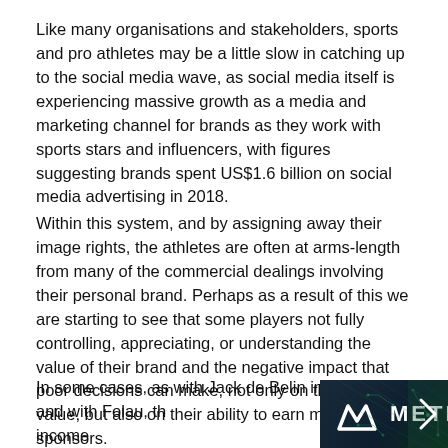Like many organisations and stakeholders, sports and pro athletes may be a little slow in catching up to the social media wave, as social media itself is experiencing massive growth as a media and marketing channel for brands as they work with sports stars and influencers, with figures suggesting brands spent US$1.6 billion on social media advertising in 2018.
Within this system, and by assigning away their image rights, the athletes are often at arms-length from many of the commercial dealings involving their personal brand. Perhaps as a result of this we are starting to see that some players not fully controlling, appreciating, or understanding the value of their brand and the negative impact that poor decisions can make, not only on their brand value, but also on their ability to earn money from sponsors.
In some cases, as with Jack de Belin in the NRL and with Folau, th... earn income...
[Figure (logo): Metrics company logo banner with dark navy/teal background, geometric pattern, white M-shaped icon and METRICS text in white]